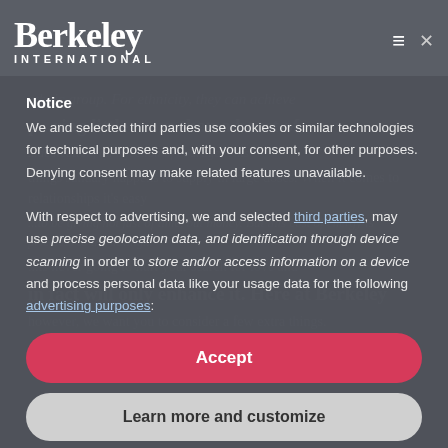[Figure (logo): Berkeley International logo with large serif 'Berkeley' text and 'INTERNATIONAL' subtitle in caps]
Notice
We and selected third parties use cookies or similar technologies for technical purposes and, with your consent, for other purposes. Denying consent may make related features unavailable.
With respect to advertising, we and selected third parties, may use precise geolocation data, and identification through device scanning in order to store and/or access information on a device and process personal data like your usage data for the following advertising purposes:
Accept
Learn more and customize